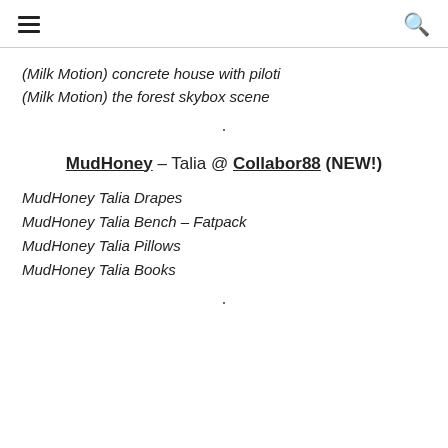≡  🔍
(Milk Motion) concrete house with piloti
(Milk Motion) the forest skybox scene
·
MudHoney – Talia @ Collabor88 (NEW!)
MudHoney Talia Drapes
MudHoney Talia Bench – Fatpack
MudHoney Talia Pillows
MudHoney Talia Books
·